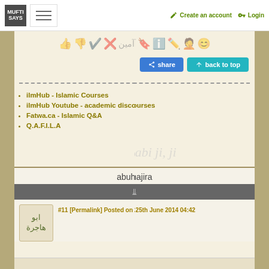MUFTI SAYS | Create an account | Login
[Figure (screenshot): Emoji reaction bar with thumbs up, thumbs down, checkmark, X, Arabic amin text, bookmark star, info, pen/edit, face, and smiley face icons]
share   back to top
ilmHub - Islamic Courses
ilmHub Youtube - academic discourses
Fatwa.ca - Islamic Q&A
Q.A.F.I.L.A
[Figure (illustration): Cursive/handwritten signature watermark in light gray]
abuhajira
#11 [Permalink] Posted on 25th June 2014 04:42
[Figure (illustration): Partial view of an image at the bottom of the page]